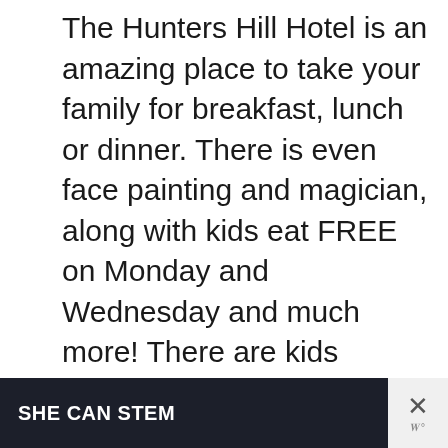The Hunters Hill Hotel is an amazing place to take your family for breakfast, lunch or dinner. There is even face painting and magician, along with kids eat FREE on Monday and Wednesday and much more! There are kids entertainers from 6-8pm on Saturday, and 12-3pm on Sunday.
[Figure (other): Gray placeholder rectangle for an advertisement or image carousel, with three navigation dots below it]
[Figure (screenshot): Dark banner advertisement reading 'SHE CAN STEM' in bold white text on a dark navy/charcoal background, with a close button (X) on the right side in a light gray box]